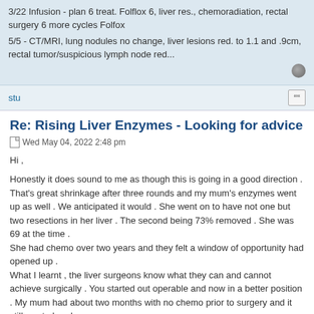3/22 Infusion - plan 6 treat. Folflox 6, liver res., chemoradiation, rectal surgery 6 more cycles Folfox
5/5 - CT/MRI, lung nodules no change, liver lesions red. to 1.1 and .9cm, rectal tumor/suspicious lymph node red...
stu
Re: Rising Liver Enzymes - Looking for advice
Wed May 04, 2022 2:48 pm
Hi ,
Honestly it does sound to me as though this is going in a good direction . That's great shrinkage after three rounds and my mum's enzymes went up as well . We anticipated it would . She went on to have not one but two resections in her liver . The second being 73% removed . She was 69 at the time .
She had chemo over two years and they felt a window of opportunity had opened up .
What I learnt , the liver surgeons know what they can and cannot achieve surgically . You started out operable and now in a better position . My mum had about two months with no chemo prior to surgery and it still went ahead .
It is totally understandable due to the nature of the disease to worry but it sounds as though you are responding well . You are reducing the tumour...